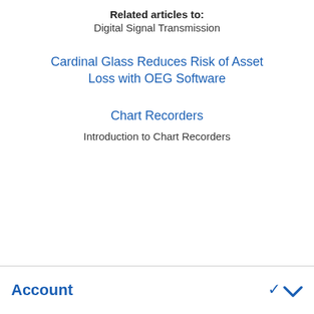Related articles to:
Digital Signal Transmission
Cardinal Glass Reduces Risk of Asset Loss with OEG Software
Chart Recorders
Introduction to Chart Recorders
Account